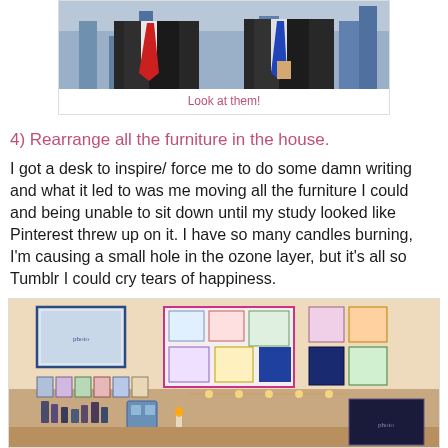[Figure (photo): Two men in dark suits, one with a red tie and one with a blue tie, photographed from chest up]
Look at them!
4) Rearrange all the furniture in the house.
I got a desk to inspire/ force me to do some damn writing and what it led to was me moving all the furniture I could and being unable to sit down until my study looked like Pinterest threw up on it. I have so many candles burning, I'm causing a small hole in the ozone layer, but it's all so Tumblr I could cry tears of happiness.
[Figure (photo): A cozy study/bedroom corner with posters and photos pinned to the wall, a framed picture, small figurines on a desk, and candlelight glow]